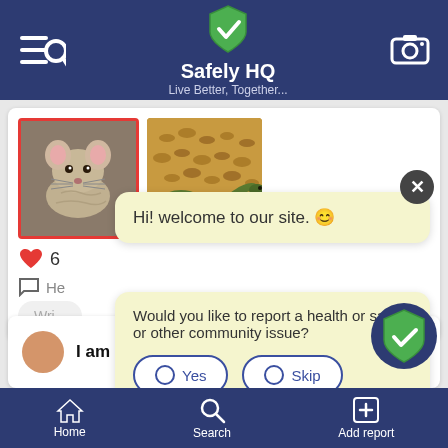Safely HQ - Live Better, Together...
[Figure (screenshot): App screenshot showing Safely HQ mobile app interface with chat bubbles and community report prompt]
Hi! welcome to our site. 😊
Would you like to report a health or safety or other community issue?
Yes
Skip
I am a resident of 817 Rose Lane, 817
Home  Search  Add report